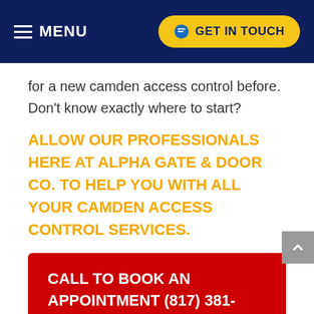MENU | GET IN TOUCH
for a new camden access control before. Don't know exactly where to start?
ALLOW OUR PROFESSIONALS HERE AT ALPHA GATE & DOOR CO. TO HELP YOU WITH ALL YOUR CAMDEN ACCESS CONTROL SERVICES.
CALL TO BOOK AN APPOINTMENT (817) 381-7788